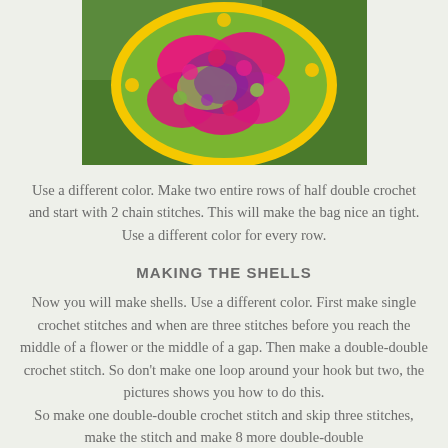[Figure (photo): Close-up photo of colorful crochet work with pink, purple, yellow and green yarn on grass background, showing flower motifs]
Use a different color. Make two entire rows of half double crochet and start with 2 chain stitches. This will make the bag nice an tight. Use a different color for every row.
MAKING THE SHELLS
Now you will make shells. Use a different color. First make single crochet stitches and when are three stitches before you reach the middle of a flower or the middle of a gap. Then make a double-double crochet stitch. So don't make one loop around your hook but two, the pictures shows you how to do this.
So make one double-double crochet stitch and skip three stitches, make the stitch and make 8 more double-double